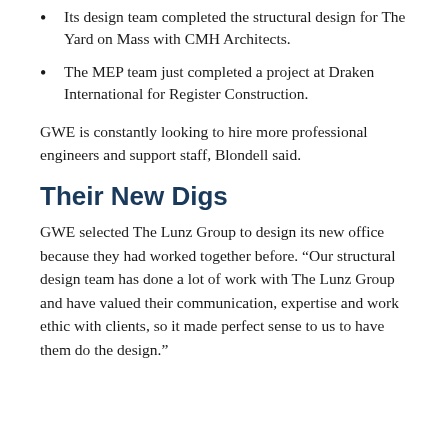Its design team completed the structural design for The Yard on Mass with CMH Architects.
The MEP team just completed a project at Draken International for Register Construction.
GWE is constantly looking to hire more professional engineers and support staff, Blondell said.
Their New Digs
GWE selected The Lunz Group to design its new office because they had worked together before. “Our structural design team has done a lot of work with The Lunz Group and have valued their communication, expertise and work ethic with clients, so it made perfect sense to us to have them do the design.”